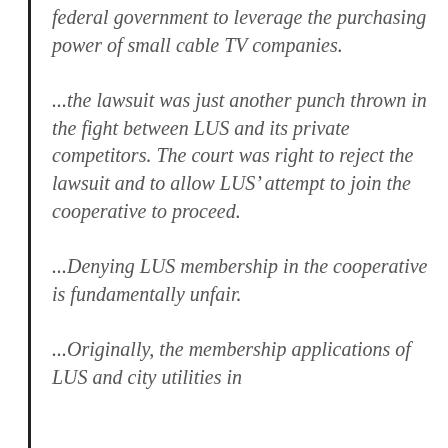federal government to leverage the purchasing power of small cable TV companies.
...the lawsuit was just another punch thrown in the fight between LUS and its private competitors. The court was right to reject the lawsuit and to allow LUS’ attempt to join the cooperative to proceed.
...Denying LUS membership in the cooperative is fundamentally unfair.
...Originally, the membership applications of LUS and city utilities in